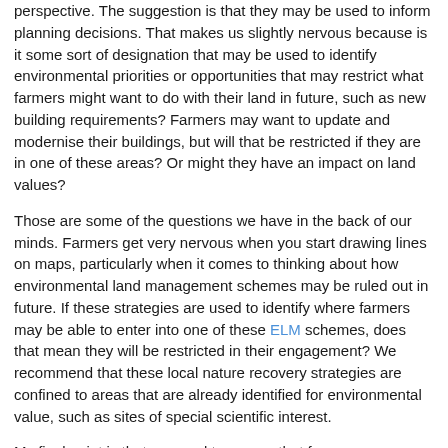perspective. The suggestion is that they may be used to inform planning decisions. That makes us slightly nervous because is it some sort of designation that may be used to identify environmental priorities or opportunities that may restrict what farmers might want to do with their land in future, such as new building requirements? Farmers may want to update and modernise their buildings, but will that be restricted if they are in one of these areas? Or might they have an impact on land values?
Those are some of the questions we have in the back of our minds. Farmers get very nervous when you start drawing lines on maps, particularly when it comes to thinking about how environmental land management schemes may be ruled out in future. If these strategies are used to identify where farmers may be able to enter into one of these ELM schemes, does that mean they will be restricted in their engagement? We recommend that these local nature recovery strategies are confined to areas that are already identified for environmental value, such as sites of special scientific interest.
My final point is that we need to ensure that farmers are properly consulted at an early stage of the strategies, so that food production is considered alongside any environmental priorities.
Link to this speech
In context   Individually